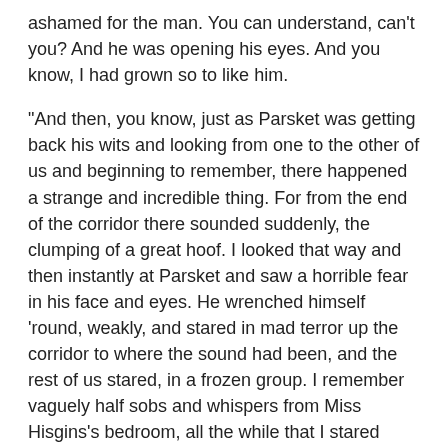ashamed for the man. You can understand, can't you? And he was opening his eyes. And you know, I had grown so to like him.
"And then, you know, just as Parsket was getting back his wits and looking from one to the other of us and beginning to remember, there happened a strange and incredible thing. For from the end of the corridor there sounded suddenly, the clumping of a great hoof. I looked that way and then instantly at Parsket and saw a horrible fear in his face and eyes. He wrenched himself 'round, weakly, and stared in mad terror up the corridor to where the sound had been, and the rest of us stared, in a frozen group. I remember vaguely half sobs and whispers from Miss Hisgins's bedroom, all the while that I stared frightenedly up the corridor.
"The silence lasted several seconds and then, abruptly there came again the clumping of the great hoof, away at the end of the corridor. And immediately afterward the clungk, clunk—clungk, clunk of mighty hoofs coming down the passage toward us.